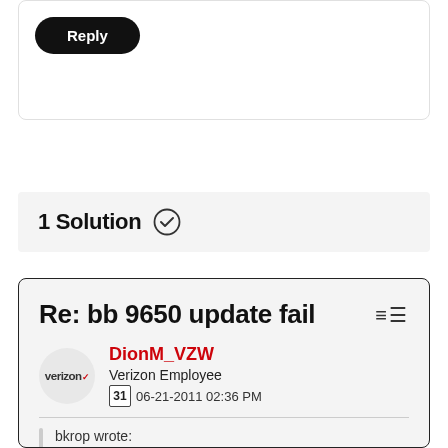[Figure (other): Reply button — black rounded pill button with white 'Reply' text]
1 Solution ✓
Re: bb 9650 update fail
DionM_VZW
Verizon Employee
06-21-2011 02:36 PM
bkrop wrote: